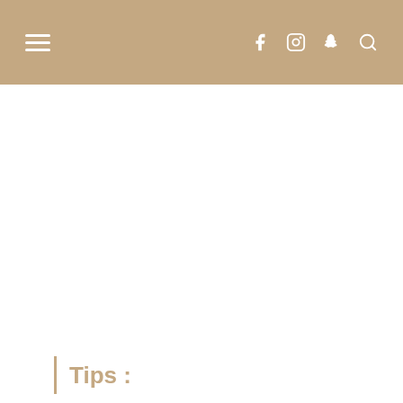Navigation header with hamburger menu and social icons (Facebook, Instagram, Snapchat, Search)
Tips :